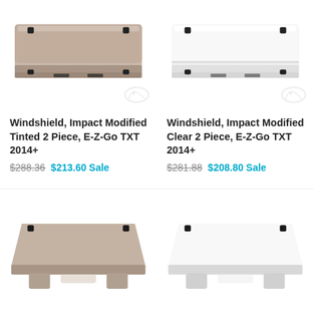[Figure (photo): Tinted 2-piece windshield for E-Z-Go TXT 2014+, brownish-gray tint, viewed from front-below angle]
[Figure (photo): Clear 2-piece windshield for E-Z-Go TXT 2014+, clear/white, viewed from front-below angle]
Windshield, Impact Modified Tinted 2 Piece, E-Z-Go TXT 2014+
$288.36  $213.60 Sale
Windshield, Impact Modified Clear 2 Piece, E-Z-Go TXT 2014+
$281.88  $208.80 Sale
[Figure (photo): Tinted 2-piece windshield partial view, bottom portion, brownish-gray]
[Figure (photo): Clear 2-piece windshield partial view, bottom portion, white/clear]